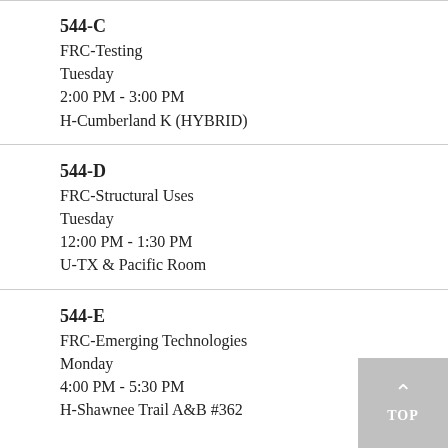544-C
FRC-Testing
Tuesday
2:00 PM - 3:00 PM
H-Cumberland K (HYBRID)
544-D
FRC-Structural Uses
Tuesday
12:00 PM - 1:30 PM
U-TX & Pacific Room
544-E
FRC-Emerging Technologies
Monday
4:00 PM - 5:30 PM
H-Shawnee Trail A&B #362